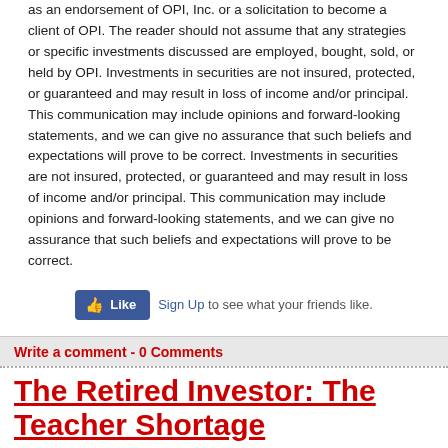as an endorsement of OPI, Inc. or a solicitation to become a client of OPI. The reader should not assume that any strategies or specific investments discussed are employed, bought, sold, or held by OPI. Investments in securities are not insured, protected, or guaranteed and may result in loss of income and/or principal. This communication may include opinions and forward-looking statements, and we can give no assurance that such beliefs and expectations will prove to be correct. Investments in securities are not insured, protected, or guaranteed and may result in loss of income and/or principal. This communication may include opinions and forward-looking statements, and we can give no assurance that such beliefs and expectations will prove to be correct.
[Figure (other): Facebook Like button with Sign Up link and text 'to see what your friends like.']
Write a comment - 0 Comments
The Retired Investor: The Teacher Shortage
By Bill Schmick
iBerkshires columnist